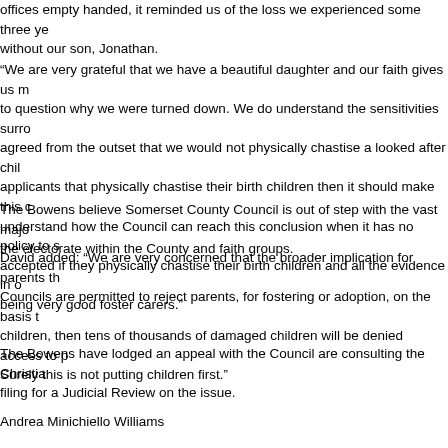offices empty handed, it reminded us of the loss we experienced some three years ago without our son, Jonathan.
“We are very grateful that we have a beautiful daughter and our faith gives us much strength, but we have to question why we were turned down. We do understand the sensitivities surrounding this issue, but we agreed from the outset that we would not physically chastise a looked after child. If the Council accepts applicants that physically chastise their birth children then it should make this clear. We are unable to understand how the Council can reach this conclusion when it has no policy to say applicants will not be accepted if they physically chastise their birth children and all the evidence in our case indicates us being very good foster carers.”
The Bowens believe Somerset County Council is out of step with the vast majority of the public, the electorate within the County and faith groups.
David added: “We are very concerned that the broader implication for parents that believe in smacking, if Councils are permitted to reject parents, for fostering or adoption, on the basis that they smack their own children, then tens of thousands of damaged children will be denied access to permanent family homes. Surely this is not putting children first.”
The Bowens have lodged an appeal with the Council are consulting the Christian Legal Centre and filing for a Judicial Review on the issue.
Andrea Minichiello Williams